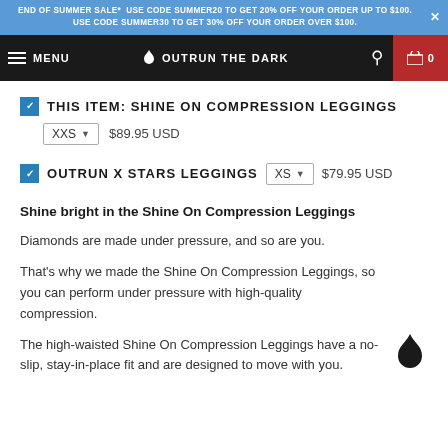END OF SUMMER SALE* USE CODE SUMMER20 TO GET 20% OFF YOUR ORDER UP TO $100. USE CODE SUMMER30 TO GET 30% OFF YOUR ORDER OVER $100.
MENU | OUTRUN THE DARK | 0
THIS ITEM: SHINE ON COMPRESSION LEGGINGS XXS $89.95 USD
OUTRUN X STARS LEGGINGS XS $79.95 USD
Shine bright in the Shine On Compression Leggings
Diamonds are made under pressure, and so are you.
That's why we made the Shine On Compression Leggings, so you can perform under pressure with high-quality compression.
The high-waisted Shine On Compression Leggings have a no-slip, stay-in-place fit and are designed to move with you.